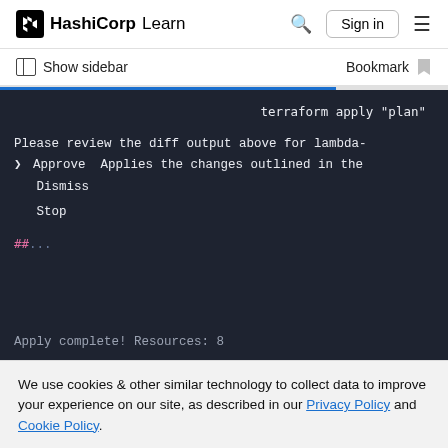HashiCorp Learn  Sign in
Show sidebar  Bookmark
[Figure (screenshot): Dark terminal/code block showing terraform apply 'plan' command output with options: Approve (Applies the changes outlined in the), Dismiss, Stop, and ## ... and Apply complete! Resources: 8]
We use cookies & other similar technology to collect data to improve your experience on our site, as described in our Privacy Policy and Cookie Policy.
Manage Preferences  DISMISS